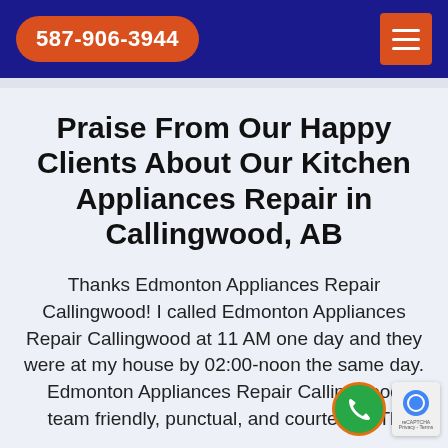587-906-3944
Praise From Our Happy Clients About Our Kitchen Appliances Repair in Callingwood, AB
Thanks Edmonton Appliances Repair Callingwood! I called Edmonton Appliances Repair Callingwood at 11 AM one day and they were at my house by 02:00-noon the same day. Edmonton Appliances Repair Callingwood team friendly, punctual, and courteous. Th